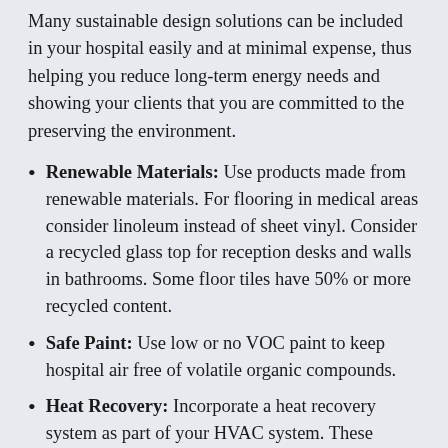Many sustainable design solutions can be included in your hospital easily and at minimal expense, thus helping you reduce long-term energy needs and showing your clients that you are committed to the preserving the environment.
Renewable Materials: Use products made from renewable materials. For flooring in medical areas consider linoleum instead of sheet vinyl. Consider a recycled glass top for reception desks and walls in bathrooms. Some floor tiles have 50% or more recycled content.
Safe Paint: Use low or no VOC paint to keep hospital air free of volatile organic compounds.
Heat Recovery: Incorporate a heat recovery system as part of your HVAC system. These systems, which can be installed as separate units, provide fresh air, improved climate